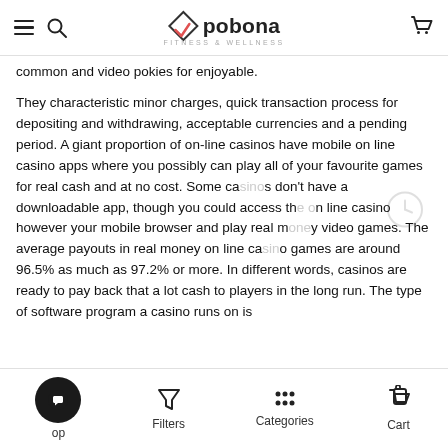pobona Fitness & Wellness
common and video pokies for enjoyable.
They characteristic minor charges, quick transaction process for depositing and withdrawing, acceptable currencies and a pending period. A giant proportion of on-line casinos have mobile on line casino apps where you possibly can play all of your favourite games for real cash and at no cost. Some casinos don't have a downloadable app, though you could access the on line casino however your mobile browser and play real money video games. The average payouts in real money on line casino games are around 96.5% as much as 97.2% or more. In different words, casinos are ready to pay back that a lot cash to players in the long run. The type of software program a casino runs on is
Shop | Filters | Categories | Cart